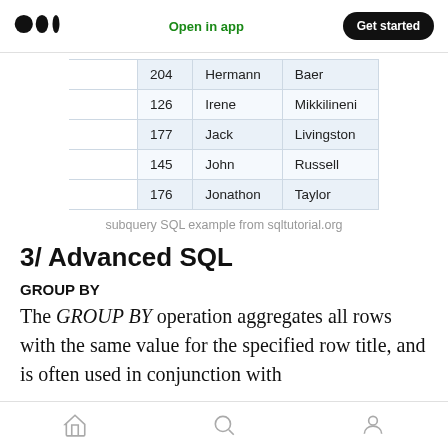Open in app   Get started
| 204 | Hermann | Baer |
| 126 | Irene | Mikkilineni |
| 177 | Jack | Livingston |
| 145 | John | Russell |
| 176 | Jonathon | Taylor |
subquery SQL example from sqltutorial.org
3/ Advanced SQL
GROUP BY
The GROUP BY operation aggregates all rows with the same value for the specified row title, and is often used in conjunction with
home  search  profile